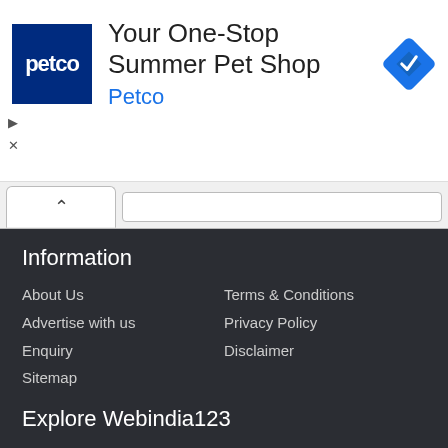[Figure (screenshot): Petco advertisement banner: logo with 'petco' text on dark blue background, headline 'Your One-Stop Summer Pet Shop', subtext 'Petco' in blue, and a blue diamond navigation icon on the right.]
Information
About Us
Advertise with us
Enquiry
Sitemap
Terms & Conditions
Privacy Policy
Disclaimer
Explore Webindia123
News and Press Releases
Education And Career
Video Shows
Movie And Celebrity Events
Yellow Pages/ Business Contacts
Photo Gallery
Classified/ Personal Ads
Automobiles